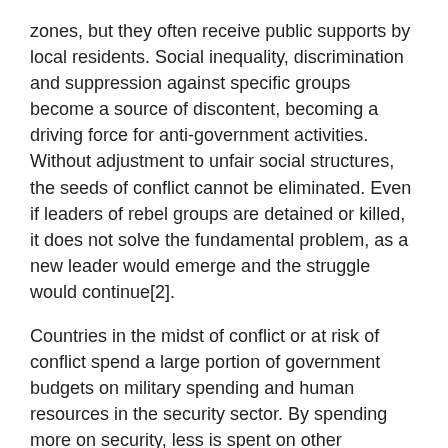zones, but they often receive public supports by local residents. Social inequality, discrimination and suppression against specific groups become a source of discontent, becoming a driving force for anti-government activities. Without adjustment to unfair social structures, the seeds of conflict cannot be eliminated. Even if leaders of rebel groups are detained or killed, it does not solve the fundamental problem, as a new leader would emerge and the struggle would continue[2].
Countries in the midst of conflict or at risk of conflict spend a large portion of government budgets on military spending and human resources in the security sector. By spending more on security, less is spent on other government services. That means that the government often fails to provide sufficient services that would satisfy people's demands. This causes further dissatisfaction with the government, leading to the rise of political tensions. While a large amount is spent on the military and public